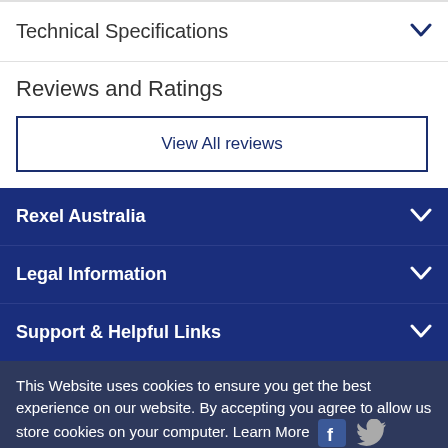Technical Specifications
Reviews and Ratings
View All reviews
Rexel Australia
Legal Information
Support & Helpful Links
This Website uses cookies to ensure you get the best experience on our website. By accepting you agree to allow us store cookies on your computer. Learn More
certified by Certec
I accept